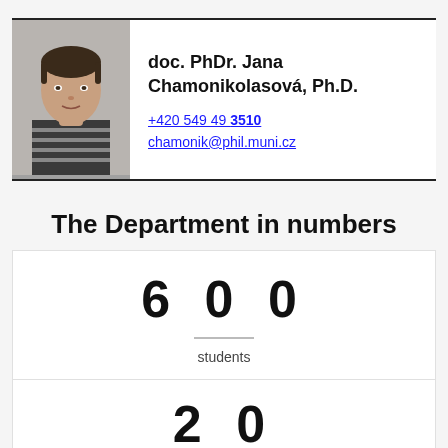[Figure (photo): Headshot photo of doc. PhDr. Jana Chamonikolasová, Ph.D. — a woman with short dark hair wearing a striped top, against a neutral background.]
doc. PhDr. Jana Chamonikolasová, Ph.D.
+420 549 49 3510
chamonik@phil.muni.cz
The Department in numbers
600
students
20